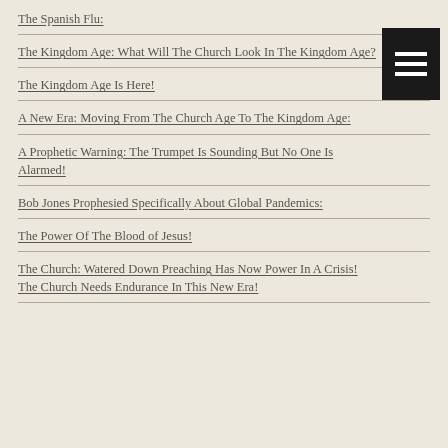The Spanish Flu:
The Kingdom Age: What Will The Church Look In The Kingdom Age?
The Kingdom Age Is Here!
A New Era: Moving From The Church Age To The Kingdom Age:
A Prophetic Warning: The Trumpet Is Sounding But No One Is Alarmed!
Bob Jones Prophesied Specifically About Global Pandemics:
The Power Of The Blood of Jesus!
The Church: Watered Down Preaching Has Now Power In A Crisis! The Church Needs Endurance In This New Era!